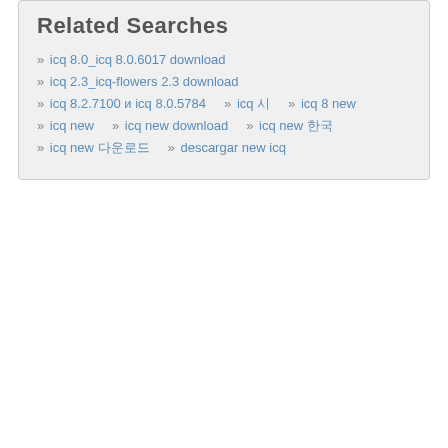Related Searches
» icq 8.0_icq 8.0.6017 download
» icq 2.3_icq-flowers 2.3 download
» icq 8.2.7100 и icq 8.0.5784   » icq 시   » icq 8 new
» icq new   » icq new download   » icq new 한국
» icq new 다운로드   » descargar new icq